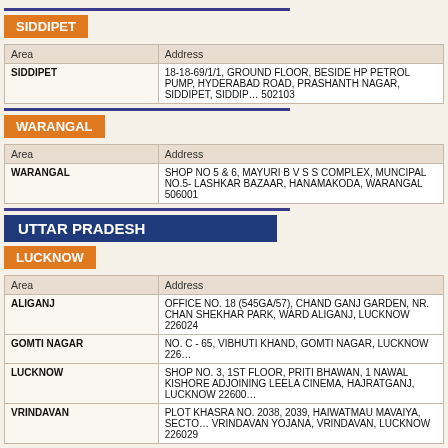SIDDIPET
| Area | Address |
| --- | --- |
| SIDDIPET | 18-18-69/1/1, GROUND FLOOR, BESIDE HP PETROL PUMP, HYDERABAD ROAD, PRASHANTH NAGAR, SIDDIPET, SIDDIPET, 502103 |
WARANGAL
| Area | Address |
| --- | --- |
| WARANGAL | SHOP NO 5 & 6, MAYURI B V S S COMPLEX, MUNCIPAL NO.5- LASHKAR BAZAAR, HANAMAKODA, WARANGAL 506001 |
UTTAR PRADESH
LUCKNOW
| Area | Address |
| --- | --- |
| ALIGANJ | OFFICE NO. 18 (545GA/57), CHAND GANJ GARDEN, NR. CHAN SHEKHAR PARK, WARD ALIGANJ, LUCKNOW 226024 |
| GOMTI NAGAR | NO. C - 65, VIBHUTI KHAND, GOMTI NAGAR, LUCKNOW 226 |
| LUCKNOW | SHOP NO. 3, 1ST FLOOR, PRITI BHAWAN, 1 NAWAL KISHORE ADJOINING LEELA CINEMA, HAJRATGANJ, LUCKNOW 22600 |
| VRINDAVAN | PLOT KHASRA NO. 2038, 2039, HAIWATMAU MAVAIYA, SECTO VRINDAVAN YOJANA, VRINDAVAN, LUCKNOW 226029 |
GHAZIABAD